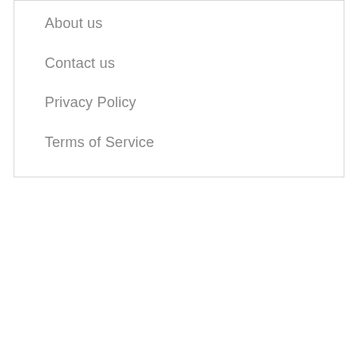About us
Contact us
Privacy Policy
Terms of Service